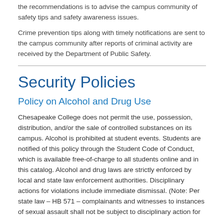the recommendations is to advise the campus community of safety tips and safety awareness issues.
Crime prevention tips along with timely notifications are sent to the campus community after reports of criminal activity are received by the Department of Public Safety.
Security Policies
Policy on Alcohol and Drug Use
Chesapeake College does not permit the use, possession, distribution, and/or the sale of controlled substances on its campus. Alcohol is prohibited at student events. Students are notified of this policy through the Student Code of Conduct, which is available free-of-charge to all students online and in this catalog. Alcohol and drug laws are strictly enforced by local and state law enforcement authorities. Disciplinary actions for violations include immediate dismissal. (Note: Per state law – HB 571 – complainants and witnesses to instances of sexual assault shall not be subject to disciplinary action for